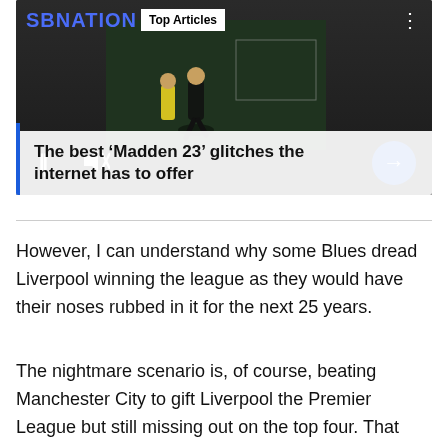[Figure (screenshot): SBNation video player showing 'Top Articles' with a football/sports video playing. Pause and mute controls visible on left, blue arrow button on right. Title card reads 'The best ‘Madden 23’ glitches the internet has to offer']
However, I can understand why some Blues dread Liverpool winning the league as they would have their noses rubbed in it for the next 25 years.
The nightmare scenario is, of course, beating Manchester City to gift Liverpool the Premier League but still missing out on the top four. That would just